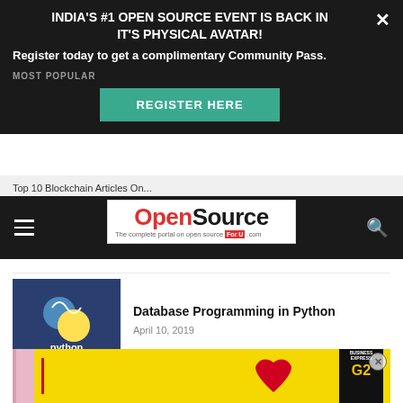[Figure (screenshot): Dark banner overlay with text 'INDIA'S #1 OPEN SOURCE EVENT IS BACK IN IT'S PHYSICAL AVATAR!' and Register Here button]
INDIA'S #1 OPEN SOURCE EVENT IS BACK IN IT'S PHYSICAL AVATAR!
Register today to get a complimentary Community Pass.
REGISTER HERE
MOST POPULAR
[Figure (logo): OpenSource For U .com logo - The complete portal on open source]
[Figure (photo): Python logo on dark blue background with text 'python']
Database Programming in Python
April 10, 2019
[Figure (photo): Network cables/ethernet jacks photo]
A Guide to Using Raw Sockets
March 21, 2015
[Figure (photo): Yellow advertisement banner with heart and magazine]